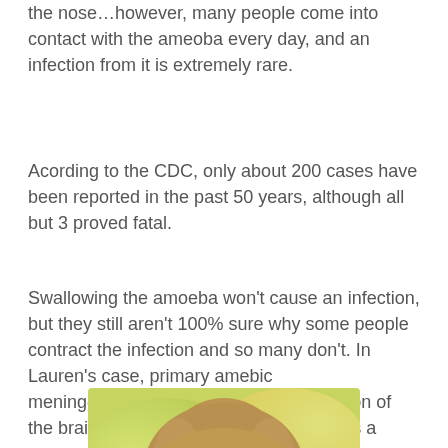the nose…however, many people come into contact with the ameoba every day, and an infection from it is extremely rare.
Acording to the CDC, only about 200 cases have been reported in the past 50 years, although all but 3 proved fatal.
Swallowing the amoeba won't cause an infection, but they still aren't 100% sure why some people contract the infection and so many don't. In Lauren's case, primary amebic meningoencephalitis, or simply an infection of the brain was contracted, and she died as a result.
[Figure (photo): Partial photo of a person with blonde hair, shown from the top, with a colorful blurred background of greens and pinks/reds]